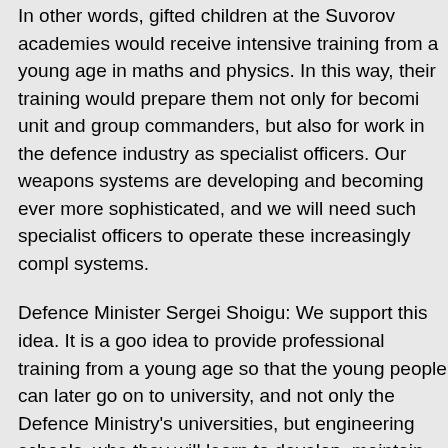In other words, gifted children at the Suvorov academies would receive intensive training from a young age in maths and physics. In this way, their training would prepare them not only for becoming unit and group commanders, but also for work in the defence industry as specialist officers. Our weapons systems are developing and becoming ever more sophisticated, and we will need such specialist officers to operate these increasingly complex systems.
Defence Minister Sergei Shoigu: We support this idea. It is a good idea to provide professional training from a young age so that the young people can later go on to university, and not only the Defence Ministry's universities, but engineering schools, where they will learn to develop, maintain, and use high-precision, complex weapons systems.
Deputy Prime Minister Dmitry Rogozin: Roscosmos and Rosatom are ready to assign their representatives to the Moscow and Tula Suvorov academies' boards of trustees and exercise oversight